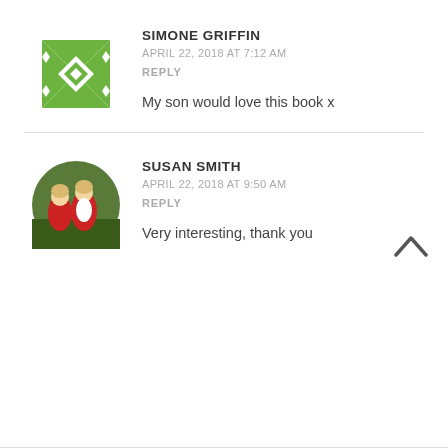[Figure (illustration): Green geometric quilt-pattern avatar for Simone Griffin]
SIMONE GRIFFIN
APRIL 22, 2018 AT 7:12 AM
REPLY
My son would love this book x
[Figure (photo): Circular photo of two young boys in sports kit for Susan Smith]
SUSAN SMITH
APRIL 22, 2018 AT 9:50 AM
REPLY
Very interesting, thank you